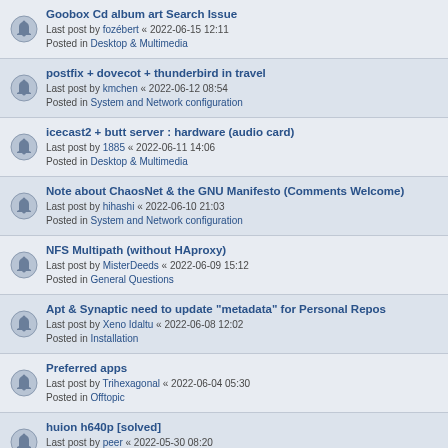Goobox Cd album art Search Issue
Last post by fozébert « 2022-06-15 12:11
Posted in Desktop & Multimedia
postfix + dovecot + thunderbird in travel
Last post by kmchen « 2022-06-12 08:54
Posted in System and Network configuration
icecast2 + butt server : hardware (audio card)
Last post by 1885 « 2022-06-11 14:06
Posted in Desktop & Multimedia
Note about ChaosNet & the GNU Manifesto (Comments Welcome)
Last post by hihashi « 2022-06-10 21:03
Posted in System and Network configuration
NFS Multipath (without HAproxy)
Last post by MisterDeeds « 2022-06-09 15:12
Posted in General Questions
Apt & Synaptic need to update "metadata" for Personal Repos
Last post by Xeno Idaltu « 2022-06-08 12:02
Posted in Installation
Preferred apps
Last post by Trihexagonal « 2022-06-04 05:30
Posted in Offtopic
huion h640p [solved]
Last post by peer « 2022-05-30 08:20
Posted in Hardware
Automatic download from salsa.debian.org
Last post by BertGrootje « 2022-05-30 06:50
Posted in General Questions
Sort/filter controls